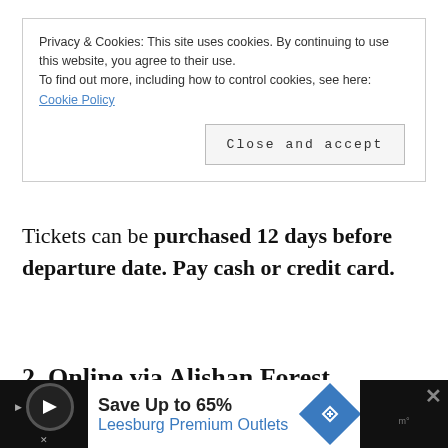Privacy & Cookies: This site uses cookies. By continuing to use this website, you agree to their use.
To find out more, including how to control cookies, see here:
Cookie Policy
[Close and accept]
Tickets can be purchased 12 days before departure date. Pay cash or credit card.
2. Online via Alishan Forest Railway Network Ticketing System
[Figure (other): Advertisement banner: Save Up to 65% Leesburg Premium Outlets, with play button icon, navigation arrow icon, and close X button]